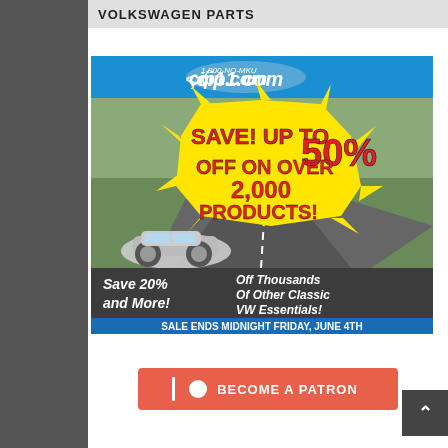VOLKSWAGEN PARTS
[Figure (infographic): CIP1.com advertisement. Blue header with CIP1.com logo and phone number 1-800-NO-MKU. Yellow burst graphic with red bold text: SAVE! UP TO 50% OFF ON OVER 2,000 PRODUCTS! Bottom section with dark background: Save 20% and More! Off Thousands Of Other Classic VW Essentials! SALE ENDS MIDNIGHT FRIDAY, JUNE 4TH. Classic VW Beetle convertible on a winding road.]
[Figure (infographic): Become a Patron button in orange/coral color with Patreon logo icon (circle and bar) and text BECOME A PATRON]